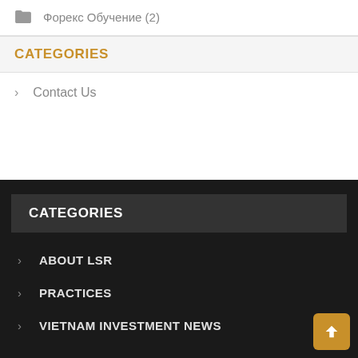Форекс Обучение (2)
CATEGORIES
Contact Us
CATEGORIES
ABOUT LSR
PRACTICES
VIETNAM INVESTMENT NEWS